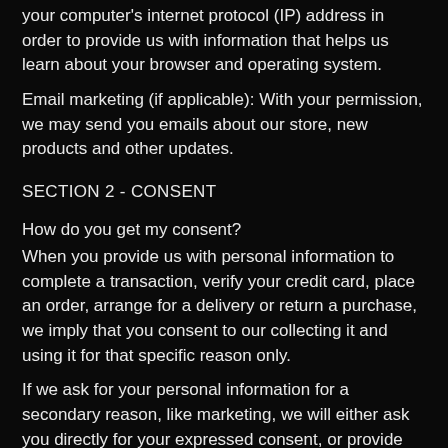your computer's internet protocol (IP) address in order to provide us with information that helps us learn about your browser and operating system.
Email marketing (if applicable): With your permission, we may send you emails about our store, new products and other updates.
SECTION 2 - CONSENT
How do you get my consent?
When you provide us with personal information to complete a transaction, verify your credit card, place an order, arrange for a delivery or return a purchase, we imply that you consent to our collecting it and using it for that specific reason only.
If we ask for your personal information for a secondary reason, like marketing, we will either ask you directly for your expressed consent, or provide you with an opportunity to say no.
How do I withdraw my consent?
If after you opt-in, you change your mind, you may